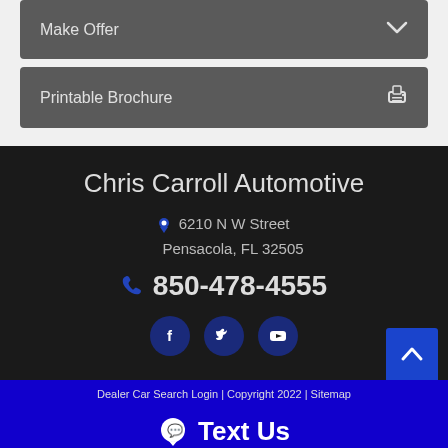Make Offer
Printable Brochure
Chris Carroll Automotive
6210 N W Street
Pensacola, FL 32505
850-478-4555
[Figure (infographic): Social media icons: Facebook, Twitter, YouTube]
Dealer Car Search Login | Copyright 2022 | Sitemap
Text Us